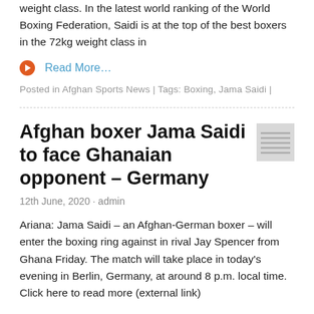weight class. In the latest world ranking of the World Boxing Federation, Saidi is at the top of the best boxers in the 72kg weight class in
Read More…
Posted in Afghan Sports News | Tags: Boxing, Jama Saidi |
Afghan boxer Jama Saidi to face Ghanaian opponent – Germany
12th June, 2020 · admin
Ariana: Jama Saidi – an Afghan-German boxer – will enter the boxing ring against in rival Jay Spencer from Ghana Friday. The match will take place in today's evening in Berlin, Germany, at around 8 p.m. local time. Click here to read more (external link)